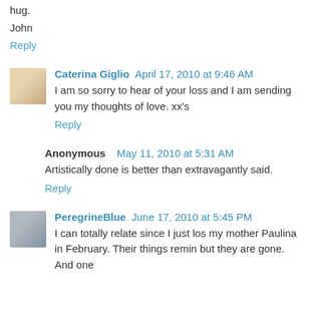hug.
John
Reply
Caterina Giglio  April 17, 2010 at 9:46 AM
I am so sorry to hear of your loss and I am sending you my thoughts of love. xx's
Reply
Anonymous  May 11, 2010 at 5:31 AM
Artistically done is better than extravagantly said.
Reply
PeregrineBlue  June 17, 2010 at 5:45 PM
I can totally relate since I just los my mother Paulina in February. Their things remin but they are gone. And one